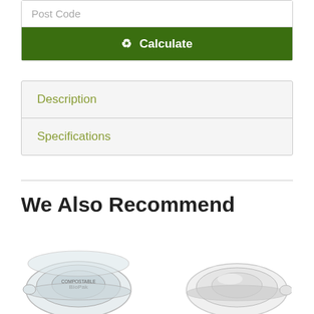Post Code
Calculate
Description
Specifications
We Also Recommend
[Figure (photo): Two product images shown side by side: left is a round transparent plastic lid labeled BioPak, right is a round white plastic lid/container lid.]